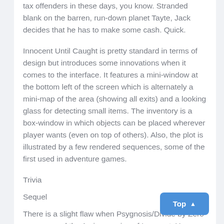tax offenders in these days, you know. Stranded blank on the barren, run-down planet Tayte, Jack decides that he has to make some cash. Quick.
Innocent Until Caught is pretty standard in terms of design but introduces some innovations when it comes to the interface. It features a mini-window at the bottom left of the screen which is alternately a mini-map of the area (showing all exits) and a looking glass for detecting small items. The inventory is a box-window in which objects can be placed wherever player wants (even on top of others). Also, the plot is illustrated by a few rendered sequences, some of the first used in adventure games.
Trivia
Sequel
There is a slight flaw when Psygnosis/Divide by Zero programmed the Amiga version of Innocent. You see, in